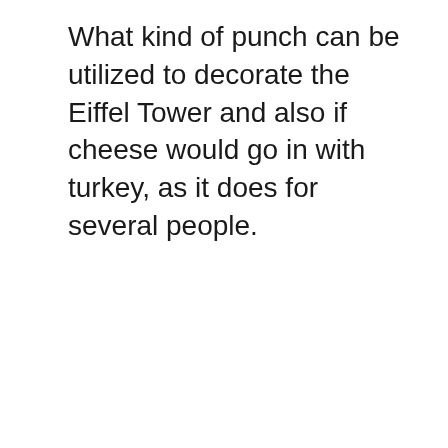What kind of punch can be utilized to decorate the Eiffel Tower and also if cheese would go in with turkey, as it does for several people.